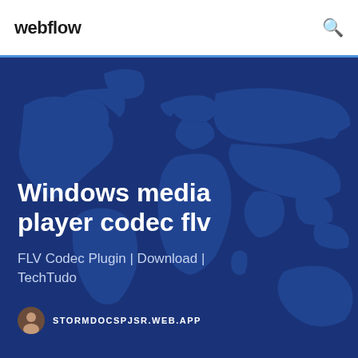webflow
[Figure (illustration): World map silhouette in blue tones used as hero background]
Windows media player codec flv
FLV Codec Plugin | Download | TechTudo
STORMDOCSPJSR.WEB.APP